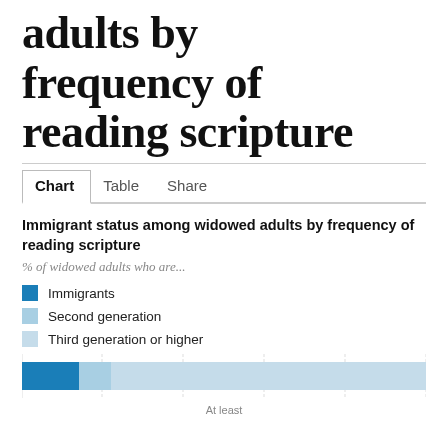adults by frequency of reading scripture
Chart  Table  Share
Immigrant status among widowed adults by frequency of reading scripture
% of widowed adults who are...
Immigrants
Second generation
Third generation or higher
[Figure (bar-chart): Immigrant status among widowed adults by frequency of reading scripture]